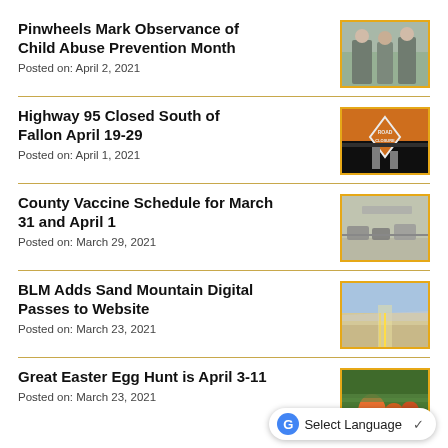Pinwheels Mark Observance of Child Abuse Prevention Month
Posted on: April 2, 2021
[Figure (photo): People standing together, possibly at an official event]
Highway 95 Closed South of Fallon April 19-29
Posted on: April 1, 2021
[Figure (photo): Road closure sign on highway, orange diamond sign reading ROAD CLOSURE]
County Vaccine Schedule for March 31 and April 1
Posted on: March 29, 2021
[Figure (photo): Cars in a parking lot or drive-through area, possibly a vaccination site]
BLM Adds Sand Mountain Digital Passes to Website
Posted on: March 23, 2021
[Figure (photo): Desert highway and landscape with mountains in background]
Great Easter Egg Hunt is April 3-11
Posted on: March 23, 2021
[Figure (photo): Easter eggs and decorative items]